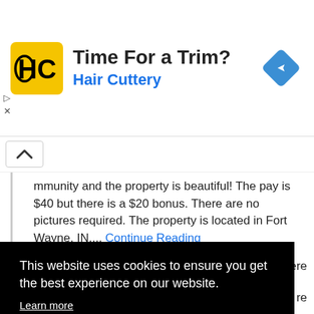[Figure (infographic): Hair Cuttery advertisement banner with HC logo, 'Time For a Trim?' headline, 'Hair Cuttery' subtitle in blue, and a blue navigation/map icon on the right]
immunity and the property is beautiful! The pay is $40 but there is a $20 bonus. There are no pictures required. The property is located in Fort Wayne, IN.... Continue Reading
$40 Apartment Shop in Minneapolis, MN and Edina,
This website uses cookies to ensure you get the best experience on our website.
Learn more
Got it!
ere
re
is an email inquiry, which is a... Continue